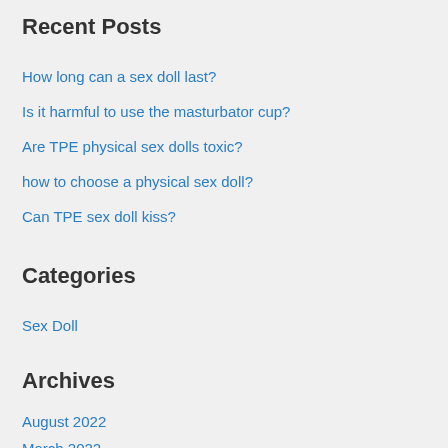Recent Posts
How long can a sex doll last?
Is it harmful to use the masturbator cup?
Are TPE physical sex dolls toxic?
how to choose a physical sex doll?
Can TPE sex doll kiss?
Categories
Sex Doll
Archives
August 2022
March 2022